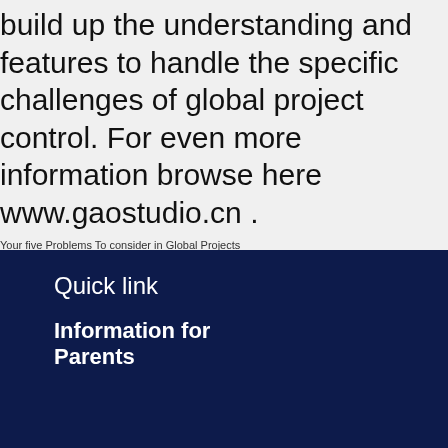build up the understanding and features to handle the specific challenges of global project control. For even more information browse here www.gaostudio.cn .
Your five Problems To consider in Global Projects
Choice Solutions Meant for Managing Personality Disorders
Leave a Reply
You must be logged in to post a comment.
Quick link
Information for Parents